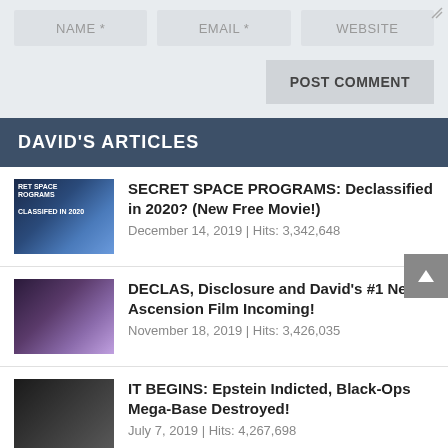NAME *
EMAIL *
WEBSITE
POST COMMENT
DAVID'S ARTICLES
SECRET SPACE PROGRAMS: Declassified in 2020? (New Free Movie!) | December 14, 2019 | Hits: 3,342,648
DECLAS, Disclosure and David's #1 New Ascension Film Incoming! | November 18, 2019 | Hits: 3,426,035
IT BEGINS: Epstein Indicted, Black-Ops Mega-Base Destroyed! | July 7, 2019 | Hits: 4,267,698